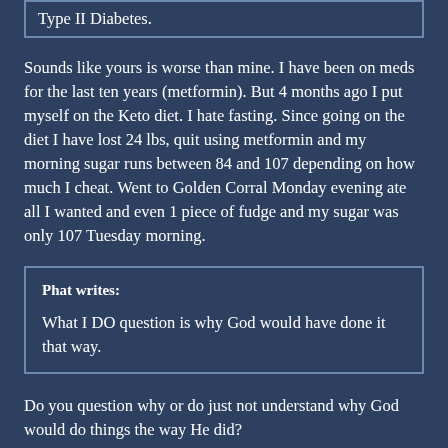Type II Diabetes.
Sounds like yours is worse than mine. I have been on meds for the last ten years (metformin). But 4 months ago I put myself on the Keto diet. I hate fasting. Since going on the diet I have lost 24 lbs, quit using metformin and my morning sugar runs between 84 and 107 depending on how much I cheat. Went to Golden Corral Monday evening ate all I wanted and even 1 piece of fudge and my sugar was only 107 Tuesday morning.
Phat writes:

What I DO question is why God would have done it that way.
Do you question why or do just not understand why God would do things the way He did?
When I look back at my life and the life of